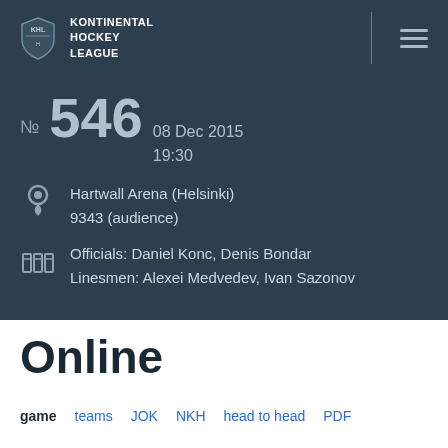KONTINENTAL HOCKEY LEAGUE
№ 546 — 08 Dec 2015, 19:30
Hartwall Arena (Helsinki)
9343 (audience)
Officials: Daniel Konc, Denis Bondar
Linesmen: Alexei Medvedev, Ivan Sazonov
Online
game  teams  JOK  NKH  head to head  PDF